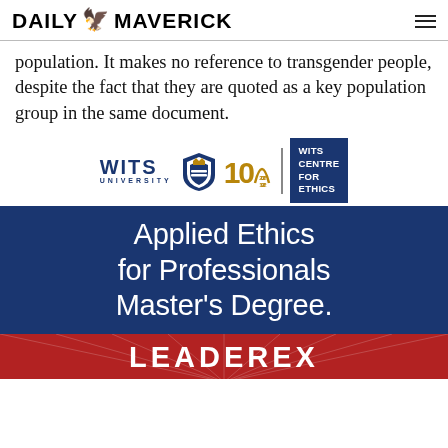DAILY MAVERICK
population. It makes no reference to transgender people, despite the fact that they are quoted as a key population group in the same document.
[Figure (logo): Wits University 100th anniversary logo with centenary mark and Wits Centre for Ethics box]
[Figure (infographic): Dark blue advertisement banner reading: Applied Ethics for Professionals Master's Degree.]
[Figure (logo): Red LEADEREX banner at the bottom of the page]